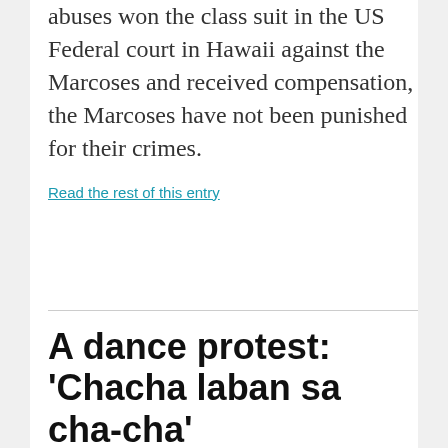abuses won the class suit in the US Federal court in Hawaii against the Marcoses and received compensation, the Marcoses have not been punished for their crimes.
Read the rest of this entry
A dance protest: 'Chacha laban sa cha-cha'
Bulatiat Contributors
February 6, 2018
chacha, charter change, federalism, Karapatan